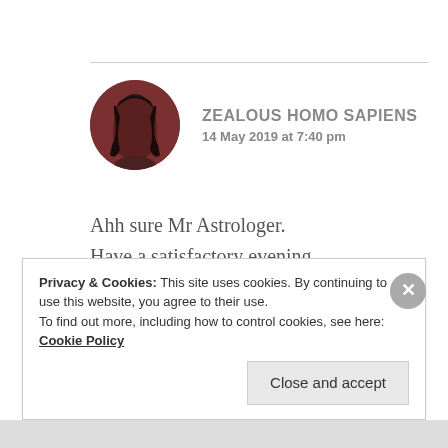[Figure (photo): Circular avatar photo of a person with dark hair against a reddish-brown background]
ZEALOUS HOMO SAPIENS
14 May 2019 at 7:40 pm
Ahh sure Mr Astrologer.
Have a satisfactory evening.
★ Liked by 1 person
Privacy & Cookies: This site uses cookies. By continuing to use this website, you agree to their use.
To find out more, including how to control cookies, see here: Cookie Policy
Close and accept